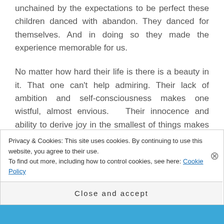unchained by the expectations to be perfect these children danced with abandon. They danced for themselves. And in doing so they made the experience memorable for us.
No matter how hard their life is there is a beauty in it. That one can't help admiring. Their lack of ambition and self-consciousness makes one wistful, almost envious.  Their innocence and ability to derive joy in the smallest of things makes one look around at the world with renewed wonder. Their
Privacy & Cookies: This site uses cookies. By continuing to use this website, you agree to their use.
To find out more, including how to control cookies, see here: Cookie Policy
Close and accept